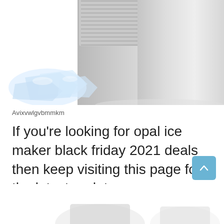[Figure (photo): Partial view of a silver/stainless steel countertop ice maker machine with ice cubes scattered in front of it, cropped at top]
Avixvwlgvbmmkm
If you're looking for opal ice maker black friday 2021 deals then keep visiting this page for the latest update.
[Figure (photo): Partial view of another ice maker product, cropped at bottom of page]